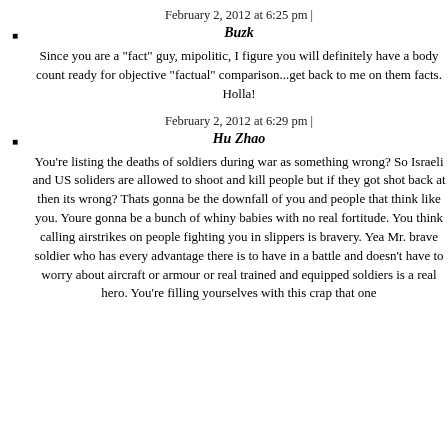February 2, 2012 at 6:25 pm | Buzk
Since you are a "fact" guy, mipolitic, I figure you will definitely have a body count ready for objective "factual" comparison...get back to me on them facts. Holla!
February 2, 2012 at 6:29 pm | Hu Zhao
You're listing the deaths of soldiers during war as something wrong? So Israeli and US soliders are allowed to shoot and kill people but if they got shot back at then its wrong? Thats gonna be the downfall of you and people that think like you. Youre gonna be a bunch of whiny babies with no real fortitude. You think calling airstrikes on people fighting you in slippers is bravery. Yea Mr. brave soldier who has every advantage there is to have in a battle and doesn't have to worry about aircraft or armour or real trained and equipped soldiers is a real hero. You're filling yourselves with this crap that one